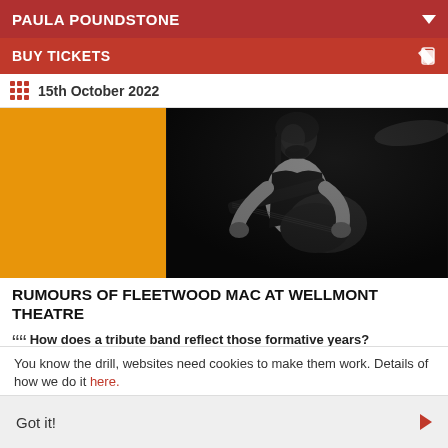PAULA POUNDSTONE
BUY TICKETS
15th October 2022
[Figure (photo): Black and white photo of a guitarist performing live, with an orange placeholder panel on the left side of the image.]
RUMOURS OF FLEETWOOD MAC AT WELLMONT THEATRE
““ How does a tribute band reflect those formative years?
You know the drill, websites need cookies to make them work. Details of how we do it here.
Got it!